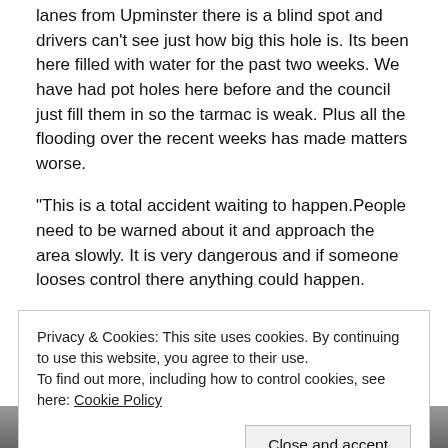lanes from Upminster there is a blind spot and drivers can't see just how big this hole is. Its been here filled with water for the past two weeks. We have had pot holes here before and the council just fill them in so the tarmac is weak. Plus all the flooding over the recent weeks has made matters worse.
“This is a total accident waiting to happen.People need to be warned about it and approach the area slowly. It is very dangerous and if someone looses control there anything could happen.
“We have all reported it to the council as it is a real
Privacy & Cookies: This site uses cookies. By continuing to use this website, you agree to their use.
To find out more, including how to control cookies, see here: Cookie Policy
Close and accept